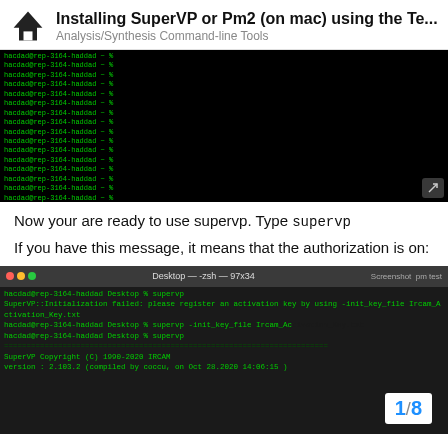Installing SuperVP or Pm2 (on mac) using the Te...
Analysis/Synthesis Command-line Tools
[Figure (screenshot): Black terminal window showing multiple lines of 'hacdad@rep-3164-haddad ~ %' prompt, followed by 'cd Desktop', 'supervp' command, SuperVP initialization failed error message, and supervp -init_key_file Ircam_Activation_Key.txt command.]
Now your are ready to use supervp. Type supervp
If you have this message, it means that the authorization is on:
[Figure (screenshot): macOS terminal window (Desktop — -zsh — 97x34) showing supervp command, SuperVP::Initialization failed error, supervp -init_key_file Ircam_Activation_Key.txt command, supervp command again, and SuperVP Copyright (C) 1990-2020 IRCAM version output. Page indicator shows 1/8.]